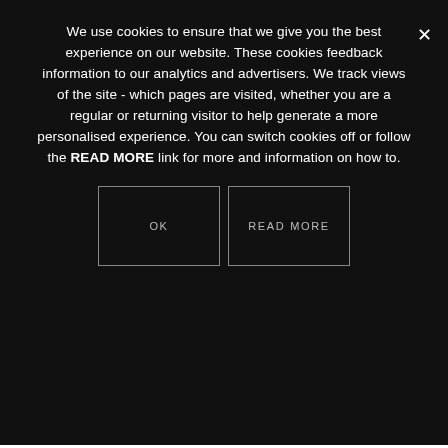We use cookies to ensure that we give you the best experience on our website. These cookies feedback information to our analytics and advertisers. We track views of the site - which pages are visited, whether you are a regular or returning visitor to help generate a more personalised experience. You can switch cookies off or follow the READ MORE link for more and information on how to.
[Figure (other): Two buttons side by side: OK (left, bordered box) and READ MORE (right, bordered box), on dark background]
[Figure (photo): A pink tabletop children's desk with copper/rose gold pipe legs sitting on a white fluffy rug, with green/teal stacked books underneath, on a wood floor background]
DIY copper pipe childs desk